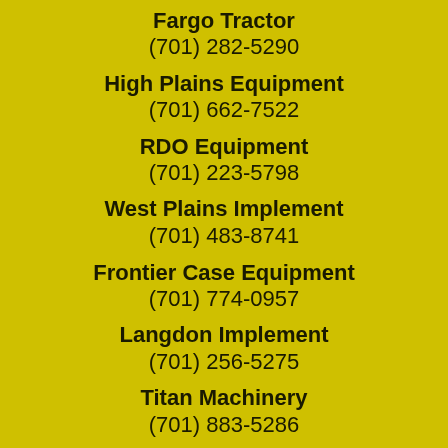Fargo Tractor
(701) 282-5290
High Plains Equipment
(701) 662-7522
RDO Equipment
(701) 223-5798
West Plains Implement
(701) 483-8741
Frontier Case Equipment
(701) 774-0957
Langdon Implement
(701) 256-5275
Titan Machinery
(701) 883-5286